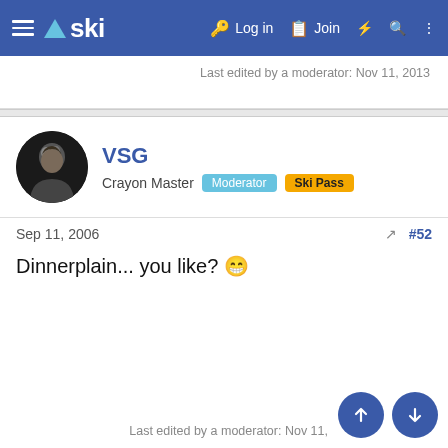ski — Log in | Join
Last edited by a moderator: Nov 11, 2013
VSG
Crayon Master | Moderator | Ski Pass
Sep 11, 2006  #52
Dinnerplain... you like? 😁
Last edited by a moderator: Nov 11,